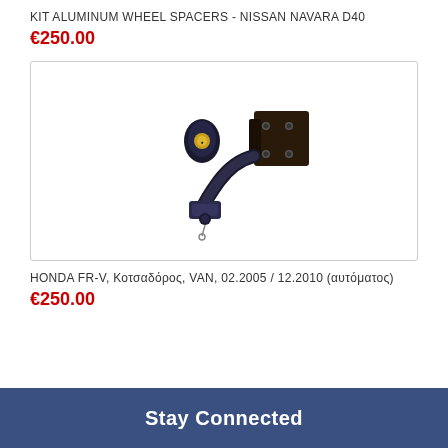KIT ALUMINUM WHEEL SPACERS - NISSAN NAVARA D40
€250.00
[Figure (photo): Tow hitch / towbar component shown in dark metal finish, with a curved neck and locking mechanism, photographed against a white background inside a bordered box.]
HONDA FR-V, Κοτσαδόρος, VAN, 02.2005 / 12.2010 (αυτόματος)
€250.00
Stay Connected